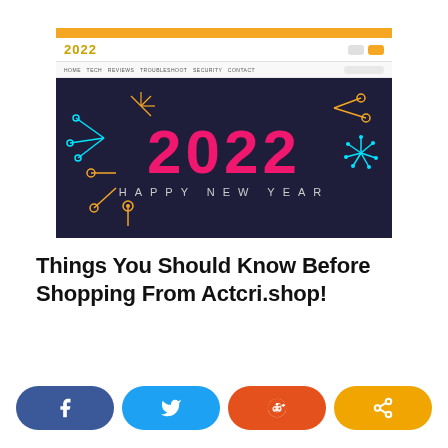[Figure (screenshot): Screenshot of a website with orange top bar, '2022' logo in gold, navigation menu, and a dark blue hero banner showing '2022 HAPPY NEW YEAR' in pink large text with colorful fireworks and circuit-style decorations.]
Things You Should Know Before Shopping From Actcri.shop!
[Figure (infographic): Social sharing buttons bar with four rounded pill-shaped buttons: Facebook (dark blue with 'f' icon), Twitter (light blue with bird icon), Reddit (orange with alien icon), Share (amber/orange with share icon).]